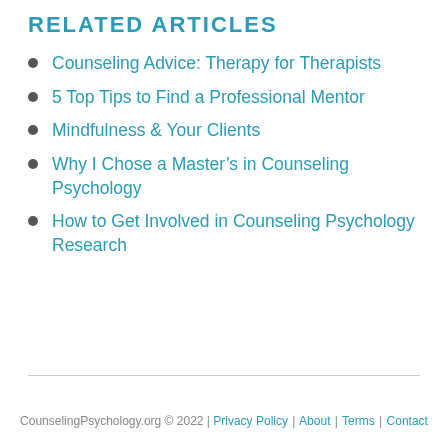RELATED ARTICLES
Counseling Advice: Therapy for Therapists
5 Top Tips to Find a Professional Mentor
Mindfulness & Your Clients
Why I Chose a Master's in Counseling Psychology
How to Get Involved in Counseling Psychology Research
CounselingPsychology.org © 2022 | Privacy Policy | About | Terms | Contact